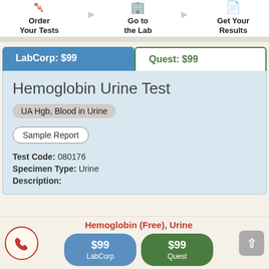[Figure (infographic): Three-step process icons: Order Your Tests (monitor icon), Go to the Lab (building with person icon), Get Your Results (document icon), with arrows between steps]
LabCorp: $99
Quest: $99
Hemoglobin Urine Test
UA Hgb, Blood in Urine
Sample Report
Test Code: 080176
Specimen Type: Urine
Description:
Hemoglobin (Free), Urine
$99 LabCorp
$99 Quest